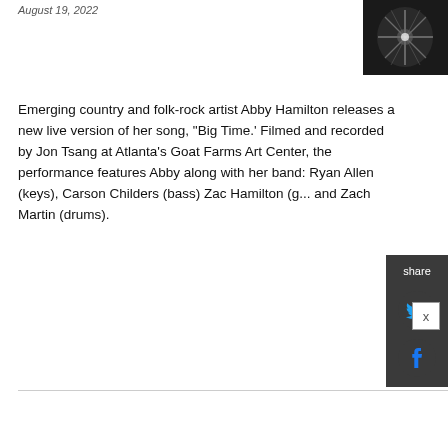August 19, 2022
[Figure (photo): Black and white photo of a person playing guitar, partially visible in upper right corner]
Emerging country and folk-rock artist Abby Hamilton releases a new live version of her song, “Big Time.’ Filmed and recorded by Jon Tsang at Atlanta’s Goat Farms Art Center, the performance features Abby along with her band: Ryan Allen (keys), Carson Childers (bass) Zac Hamilton (g... and Zach Martin (drums).